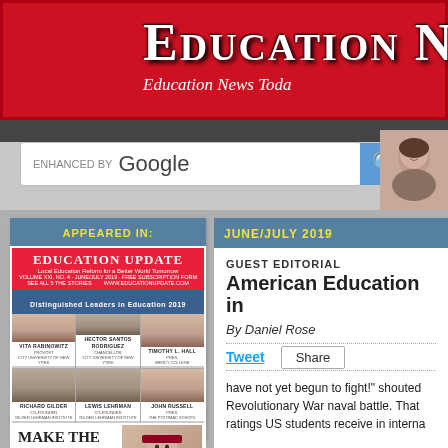EDUCATION [News Today]
[Figure (screenshot): Red banner header with 'Education' title in white serif font and italic subtitle 'Education News Today']
[Figure (screenshot): Google enhanced search bar with blue search button]
[Figure (photo): Profile photo of a woman with dark hair]
APPEARED IN:
JUNE/JULY 2019
[Figure (photo): Education Update magazine cover featuring Distinguished Leaders in Education 2019 with photos of Vita Rabinowitz, Hector Santos Rodriguez, Timothy L. Hall, Richard Gilder, Lewis Lehrman, John Russell, and headline Make The World A Better Place]
GUEST EDITORIAL
American Education in
By Daniel Rose
Tweet
Share
have not yet begun to fight!" shouted Revolutionary War naval battle. That ratings US students receive in interna